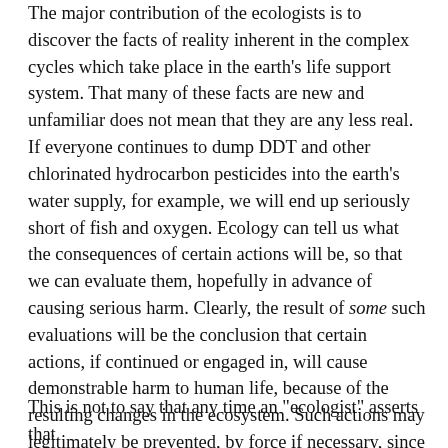The major contribution of the ecologists is to discover the facts of reality inherent in the complex cycles which take place in the earth's life support system. That many of these facts are new and unfamiliar does not mean that they are any less real. If everyone continues to dump DDT and other chlorinated hydrocarbon pesticides into the earth's water supply, for example, we will end up seriously short of fish and oxygen. Ecology can tell us what the consequences of certain actions will be, so that we can evaluate them, hopefully in advance of causing serious harm. Clearly, the result of some such evaluations will be the conclusion that certain actions, if continued or engaged in, will cause demonstrable harm to human life, because of the resulting changes in the ecosystem. Such actions may legitimately be prevented, by force if necessary, since if carried out, these actions would be aggression against some or all of humanity.
This is not to say that any time an "ecologist" asserts that